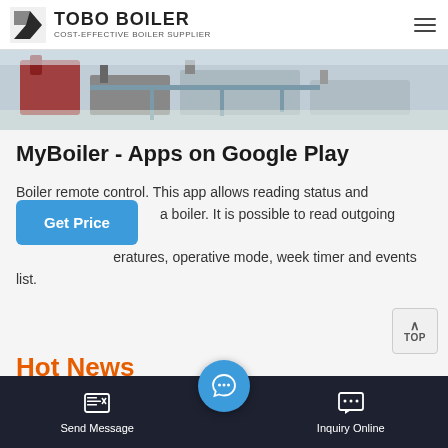TOBO BOILER — COST-EFFECTIVE BOILER SUPPLIER
[Figure (photo): Industrial boiler equipment photograph showing machinery components and piping]
MyBoiler - Apps on Google Play
Boiler remote control. This app allows reading status and a boiler. It is possible to read outgoing temperatures, eratures, operative mode, week timer and events list.
Hot News
23 Reviews Ratings 3 Interviews th d B
Send Message  Inquiry Online